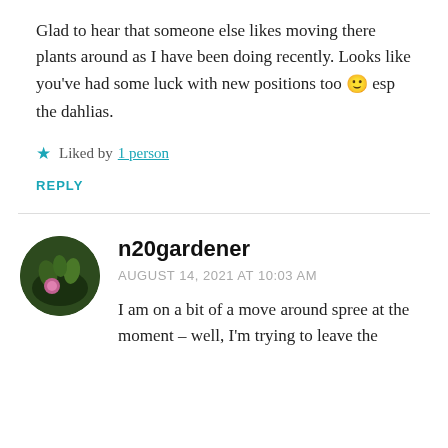Glad to hear that someone else likes moving there plants around as I have been doing recently. Looks like you’ve had some luck with new positions too 🙂 esp the dahlias.
★ Liked by 1 person
REPLY
n20gardener
AUGUST 14, 2021 AT 10:03 AM
I am on a bit of a move around spree at the moment – well, I’m trying to leave the